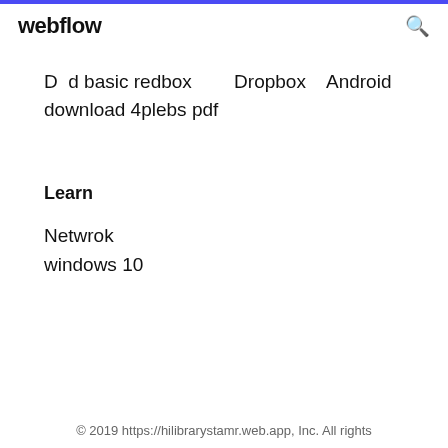webflow
D  d basic redbox         Dropbox   Android download 4plebs pdf
Learn
Netwrok
windows 10
© 2019 https://hilibrarystamr.web.app, Inc. All rights